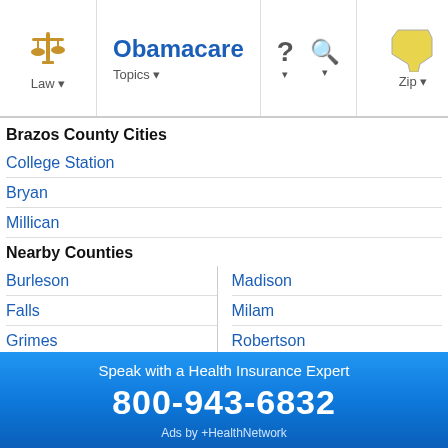Law ▾  Obamacare Topics ▾  ?  🔍  Zip ▾
Brazos County Cities
College Station
Bryan
Millican
Nearby Counties
Burleson
Madison
Falls
Milam
Grimes
Robertson
Lee
Waller
Leon
Washington
Largest Texas Cities
Houston
Speak with a Health Insurance Expert
800-943-6832
Ads by +HealthNetwork